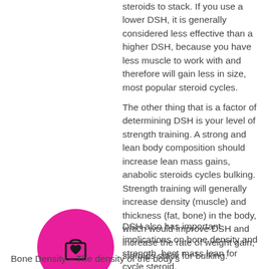steroids to stack. If you use a lower DSH, it is generally considered less effective than a higher DSH, because you have less muscle to work with and therefore will gain less in size, most popular steroid cycles.
The other thing that is a factor of determining DSH is your level of strength training. A strong and lean body composition should increase lean mass gains, anabolic steroids cycles bulking. Strength training will generally increase density (muscle) and thickness (fat, bone) in the body, which would improve DSH and increase the rate of weight gain, steroids stack for bulking.
[Figure (illustration): Magenta/pink circle icon with a shopping bag and heart symbol]
DSH also has important implications on bone density and strength, best mass lean for cycle steroid.
Bone Density – The density of the body's